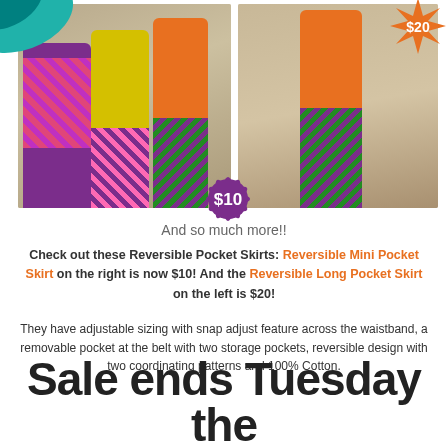[Figure (photo): Two fashion photos side by side. Left: three women in colorful tropical outfits (purple, yellow, orange tops with patterned skirts). Right: one woman in orange top with patterned mini skirt. Price badge $10 overlays left photo, $20 overlays right photo.]
And so much more!!
Check out these Reversible Pocket Skirts: Reversible Mini Pocket Skirt on the right is now $10! And the Reversible Long Pocket Skirt on the left is $20!
They have adjustable sizing with snap adjust feature across the waistband, a removable pocket at the belt with two storage pockets, reversible design with two coordinating patterns and 100% Cotton.
Sale ends Tuesday the